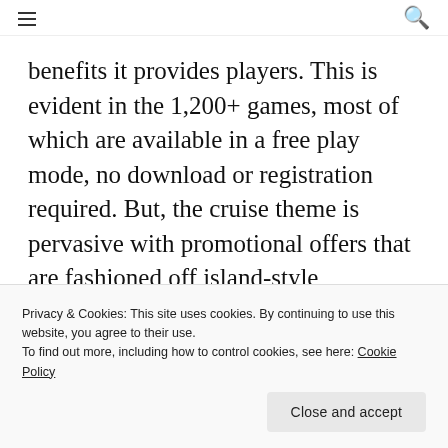☰ [menu icon] | [search icon]
benefits it provides players. This is evident in the 1,200+ games, most of which are available in a free play mode, no download or registration required. But, the cruise theme is pervasive with promotional offers that are fashioned off island-style adventures and fun in the sun. As a VIP player, there is no end to the benefits you
Privacy & Cookies: This site uses cookies. By continuing to use this website, you agree to their use.
To find out more, including how to control cookies, see here: Cookie Policy
Close and accept